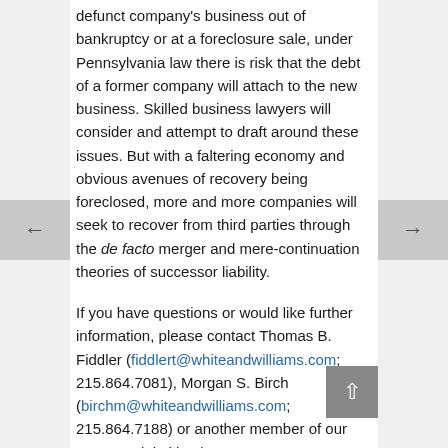defunct company's business out of bankruptcy or at a foreclosure sale, under Pennsylvania law there is risk that the debt of a former company will attach to the new business. Skilled business lawyers will consider and attempt to draft around these issues. But with a faltering economy and obvious avenues of recovery being foreclosed, more and more companies will seek to recover from third parties through the de facto merger and mere-continuation theories of successor liability.
If you have questions or would like further information, please contact Thomas B. Fiddler (fiddlert@whiteandwilliams.com; 215.864.7081), Morgan S. Birch (birchm@whiteandwilliams.com; 215.864.7188) or another member of our Commercial Litigation Group.
As we continue to monitor the novel coronavirus (COVID-19), White and Williams lawyers are working collaboratively to stay current on developments and counsel clients through the various legal and business issues that may arise across a variety of sectors. Read all of the updates here.